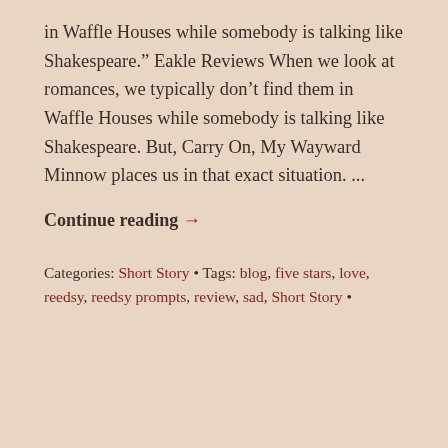in Waffle Houses while somebody is talking like Shakespeare.” Eakle Reviews When we look at romances, we typically don’t find them in Waffle Houses while somebody is talking like Shakespeare. But, Carry On, My Wayward Minnow places us in that exact situation. ...
Continue reading →
Categories: Short Story • Tags: blog, five stars, love, reedsy, reedsy prompts, review, sad, Short Story •